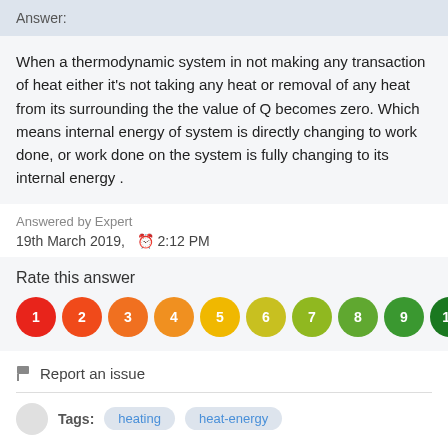Answer:
When a thermodynamic system in not making any transaction of heat either it's not taking any heat or removal of any heat from its surrounding the the value of Q becomes zero. Which means internal energy of system is directly changing to work done, or work done on the system is fully changing to its internal energy .
Answered by Expert
19th March 2019,  ⊙ 2:12 PM
Rate this answer
[Figure (infographic): Rating circles numbered 1 to 10 in a color gradient from red (1) to dark green (10)]
🏴 Report an issue
Tags:  heating  heat-energy